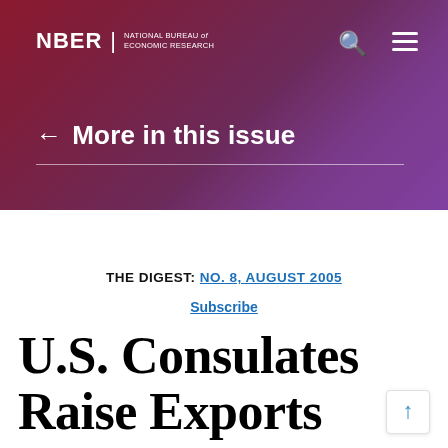NBER | NATIONAL BUREAU of ECONOMIC RESEARCH
← More in this issue
THE DIGEST: NO. 8, AUGUST 2005
Subscribe
U.S. Consulates Raise Exports